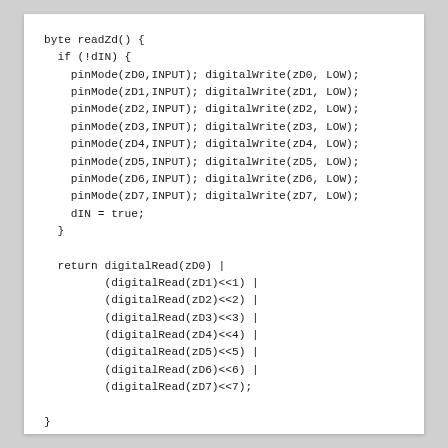byte readZd() {
  if (!dIN) {
    pinMode(zD0,INPUT); digitalWrite(zD0, LOW);
    pinMode(zD1,INPUT); digitalWrite(zD1, LOW);
    pinMode(zD2,INPUT); digitalWrite(zD2, LOW);
    pinMode(zD3,INPUT); digitalWrite(zD3, LOW);
    pinMode(zD4,INPUT); digitalWrite(zD4, LOW);
    pinMode(zD5,INPUT); digitalWrite(zD5, LOW);
    pinMode(zD6,INPUT); digitalWrite(zD6, LOW);
    pinMode(zD7,INPUT); digitalWrite(zD7, LOW);
    dIN = true;
  }

  return digitalRead(zD0) |
         (digitalRead(zD1)<<1) |
         (digitalRead(zD2)<<2) |
         (digitalRead(zD3)<<3) |
         (digitalRead(zD4)<<4) |
         (digitalRead(zD5)<<5) |
         (digitalRead(zD6)<<6) |
         (digitalRead(zD7)<<7);

}